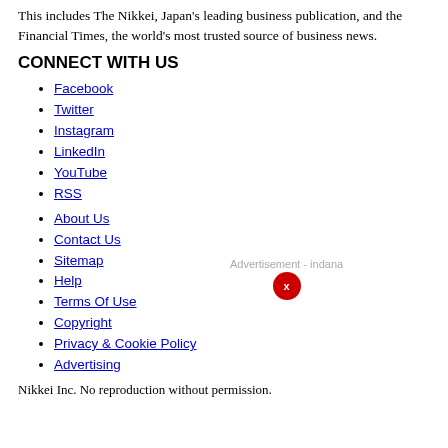This includes The Nikkei, Japan's leading business publication, and the Financial Times, the world's most trusted source of business news.
CONNECT WITH US
Facebook
Twitter
Instagram
LinkedIn
YouTube
RSS
About Us
Contact Us
Sitemap
Help
Terms Of Use
Copyright
Privacy & Cookie Policy
Advertising
Nikkei Inc. No reproduction without permission.